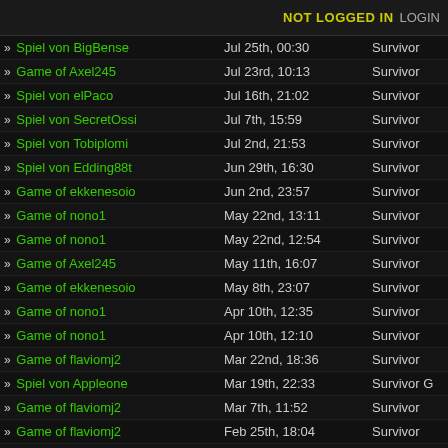NOT LOGGED IN  LOGIN
» Spiel von BigBense  Jul 25th, 00:30  Survivor
» Game of Axel245  Jul 23rd, 10:13  Survivor
» Spiel von elPaco  Jul 16th, 21:02  Survivor
» Spiel von SecretOssi  Jul 7th, 15:59  Survivor
» Spiel von Tobiplomi  Jul 2nd, 21:53  Survivor
» Spiel von Edding88t  Jun 29th, 16:30  Survivor
» Game of ekkenesoio  Jun 2nd, 23:57  Survivor
» Game of nono1  May 22nd, 13:11  Survivor
» Game of nono1  May 22nd, 12:54  Survivor
» Game of Axel245  May 11th, 16:07  Survivor
» Game of ekkenesoio  May 8th, 23:07  Survivor
» Game of nono1  Apr 10th, 12:35  Survivor
» Game of nono1  Apr 10th, 12:10  Survivor
» Game of flaviomj2  Mar 22nd, 18:36  Survivor
» Spiel von Appleone  Mar 19th, 22:33  Survivor
» Game of flaviomj2  Mar 7th, 11:52  Survivor
» Game of flaviomj2  Feb 25th, 18:04  Survivor
» Game of flaviomj2  Feb 25th, 14:54  Survivor